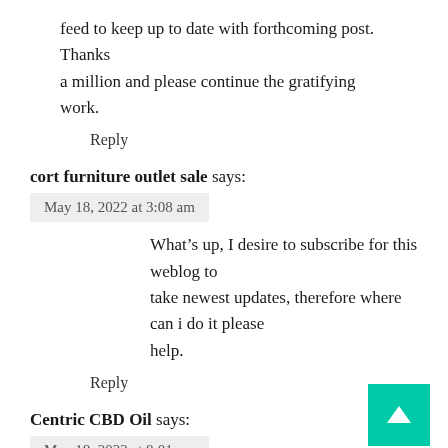feed to keep up to date with forthcoming post. Thanks a million and please continue the gratifying work.
Reply
cort furniture outlet sale says:
May 18, 2022 at 3:08 am
What's up, I desire to subscribe for this weblog to take newest updates, therefore where can i do it please help.
Reply
Centric CBD Oil says:
May 18, 2022 at 8:01 am